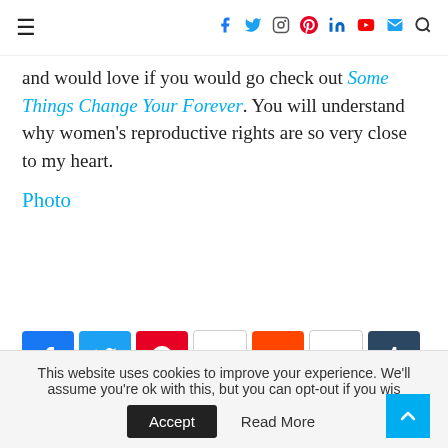≡  [social nav icons: facebook, twitter, instagram, pinterest, linkedin, youtube, email, search]
and would love if you would go check out Some Things Change Your Forever. You will understand why women's reproductive rights are so very close to my heart.
Photo
[Figure (infographic): Social media share buttons: Facebook, Twitter, Pinterest (count: 6), Reddit (count: 0), Tumblr, Flipboard, Digg, Buffer]
2012/08/23  |  21 comments
This website uses cookies to improve your experience. We'll assume you're ok with this, but you can opt-out if you wish  Accept  Read More